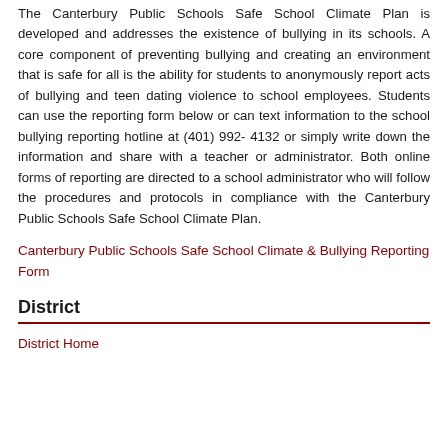The Canterbury Public Schools Safe School Climate Plan is developed and addresses the existence of bullying in its schools. A core component of preventing bullying and creating an environment that is safe for all is the ability for students to anonymously report acts of bullying and teen dating violence to school employees. Students can use the reporting form below or can text information to the school bullying reporting hotline at (401) 992- 4132 or simply write down the information and share with a teacher or administrator. Both online forms of reporting are directed to a school administrator who will follow the procedures and protocols in compliance with the Canterbury Public Schools Safe School Climate Plan.
Canterbury Public Schools Safe School Climate & Bullying Reporting Form
District
District Home